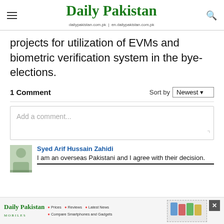Daily Pakistan | dailypakistan.com.pk | en.dailypakistan.com.pk
projects for utilization of EVMs and biometric verification system in the bye-elections.
1 Comment    Sort by Newest
Add a comment...
Syed Arif Hussain Zahidi — I am an overseas Pakistani and I agree with their decision.
[Figure (screenshot): Daily Pakistan mobile advertisement banner at bottom of page]